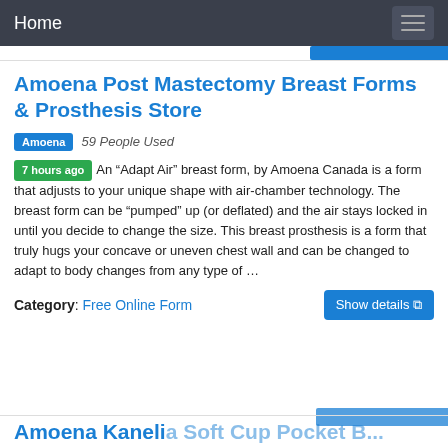Home
Amoena Post Mastectomy Breast Forms & Prosthesis Store
Amoena   59 People Used
7 hours ago  An "Adapt Air" breast form, by Amoena Canada is a form that adjusts to your unique shape with air-chamber technology. The breast form can be "pumped" up (or deflated) and the air stays locked in until you decide to change the size. This breast prosthesis is a form that truly hugs your concave or uneven chest wall and can be changed to adapt to body changes from any type of …
Category: Free Online Form
Amoena Kaneli...